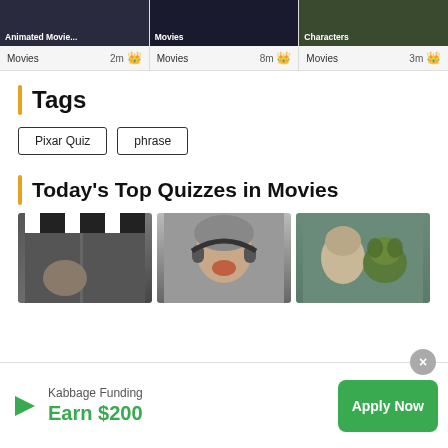[Figure (screenshot): Three movie quiz cards at top: Animated Movie (Movies, 2m), Movies (Movies, 8m), Characters (Movies, 3m)]
Tags
Pixar Quiz
phrase
Today's Top Quizzes in Movies
[Figure (screenshot): Three quiz thumbnail images: clapperboard, man with headphones, Yoda with boy]
[Figure (screenshot): Advertisement banner: Kabbage Funding - Earn $200 - Apply Now button]